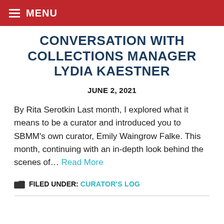MENU
CONVERSATION WITH COLLECTIONS MANAGER LYDIA KAESTNER
JUNE 2, 2021
By Rita Serotkin Last month, I explored what it means to be a curator and introduced you to SBMM's own curator, Emily Waingrow Falke. This month, continuing with an in-depth look behind the scenes of… Read More
FILED UNDER: CURATOR'S LOG